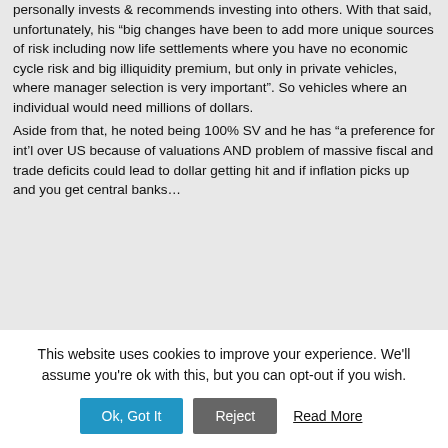personally invests & recommends investing into others. With that said, unfortunately, his "big changes have been to add more unique sources of risk including now life settlements where you have no economic cycle risk and big illiquidity premium, but only in private vehicles, where manager selection is very important". So vehicles where an individual would need millions of dollars.
Aside from that, he noted being 100% SV and he has "a preference for int'l over US because of valuations AND problem of massive fiscal and trade deficits could lead to dollar getting hit and if inflation picks up and you get central banks…
This website uses cookies to improve your experience. We'll assume you're ok with this, but you can opt-out if you wish.